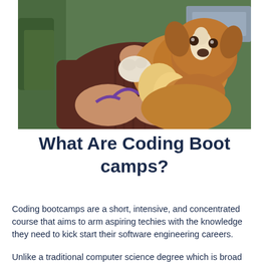[Figure (photo): A person in a dark red/maroon fleece jacket holding a fluffy brown and white puppy with a purple leash. The puppy is looking at the camera. Background shows greenery and a vehicle.]
What Are Coding Boot camps?
Coding bootcamps are a short, intensive, and concentrated course that aims to arm aspiring techies with the knowledge they need to kick start their software engineering careers.
Unlike a traditional computer science degree which is broad